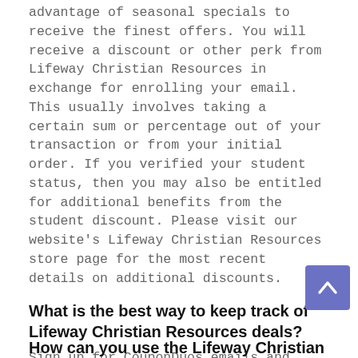advantage of seasonal specials to receive the finest offers. You will receive a discount or other perk from Lifeway Christian Resources in exchange for enrolling your email. This usually involves taking a certain sum or percentage out of your transaction or from your initial order. If you verified your student status, then you may also be entitled for additional benefits from the student discount. Please visit our website's Lifeway Christian Resources store page for the most recent details on additional discounts.
What is the best way to keep track of Lifeway Christian Resources deals?
Sign up for CouponDuos emails and keep up to date with the latest deals! Your mailbox will be filled with the freshest and greatest coupon coupons! With CouponDuos, you'll never miss another opportunity to save!
How can you use the Lifeway Christian